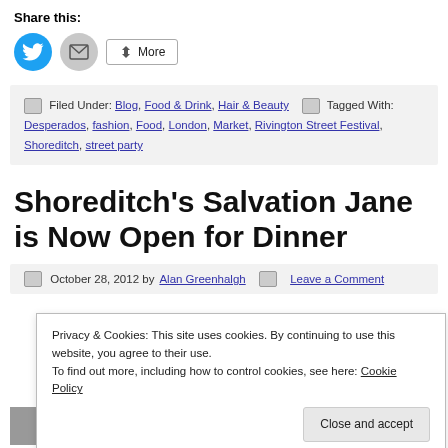Share this:
[Figure (infographic): Social share buttons: Twitter (blue circle), Email (grey circle), More button]
Filed Under: Blog, Food & Drink, Hair & Beauty   Tagged With: Desperados, fashion, Food, London, Market, Rivington Street Festival, Shoreditch, street party
Shoreditch's Salvation Jane is Now Open for Dinner
October 28, 2012 by Alan Greenhalgh   Leave a Comment
Privacy & Cookies: This site uses cookies. By continuing to use this website, you agree to their use.
To find out more, including how to control cookies, see here: Cookie Policy
Close and accept
Road,